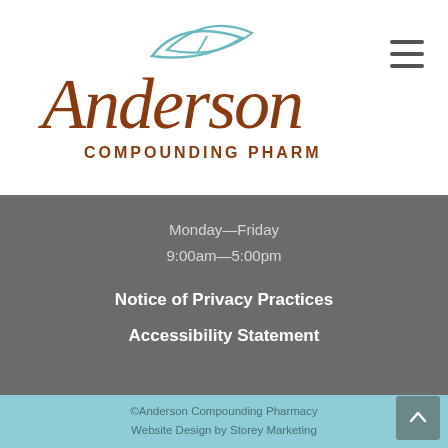[Figure (logo): Anderson Compounding Pharmacy logo with cursive brown 'Anderson' text, teal leaf/feather above, and 'COMPOUNDING PHARMACY' in brown serif caps below]
Monday—Friday
9:00am—5:00pm
Notice of Privacy Practices
Accessibility Statement
©Anderson Compounding Pharmacy
Website Design by Storey Marketing
The content and photographs on this website are copyrighted or licensed material and may not be downloaded for other than personal use. Retransmission, republication, reproduction or any other use of the content or photographs is prohibited.